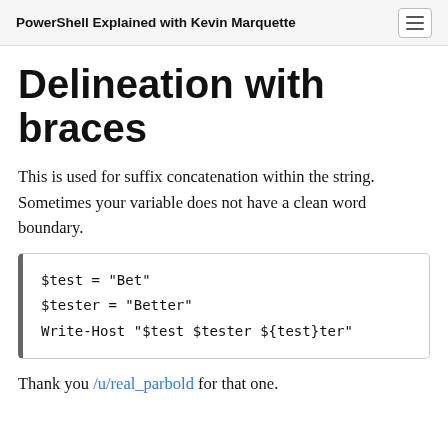PowerShell Explained with Kevin Marquette
Delineation with braces
This is used for suffix concatenation within the string. Sometimes your variable does not have a clean word boundary.
$test = "Bet"
$tester = "Better"
Write-Host "$test $tester ${test}ter"
Thank you /u/real_parbold for that one.